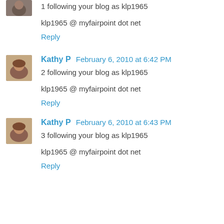[Figure (photo): Small avatar photo of a user (partial, top of page)]
1 following your blog as klp1965
klp1965 @ myfairpoint dot net
Reply
[Figure (photo): Small avatar photo of Kathy P]
Kathy P  February 6, 2010 at 6:42 PM
2 following your blog as klp1965
klp1965 @ myfairpoint dot net
Reply
[Figure (photo): Small avatar photo of Kathy P]
Kathy P  February 6, 2010 at 6:43 PM
3 following your blog as klp1965
klp1965 @ myfairpoint dot net
Reply